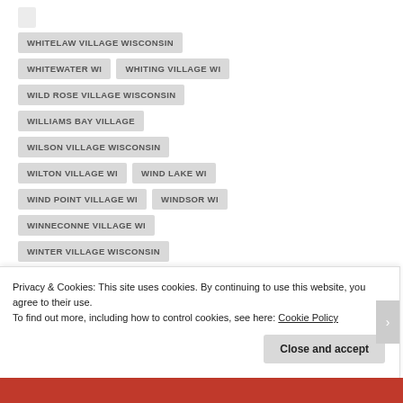WHITELAW VILLAGE WISCONSIN
WHITEWATER WI
WHITING VILLAGE WI
WILD ROSE VILLAGE WISCONSIN
WILLIAMS BAY VILLAGE
WILSON VILLAGE WISCONSIN
WILTON VILLAGE WI
WIND LAKE WI
WIND POINT VILLAGE WI
WINDSOR WI
WINNECONNE VILLAGE WI
WINTER VILLAGE WISCONSIN
WISCONSIN DELLS WI
WISCONSIN RAPIDS WI
WITHEE VILLAGE WI
Privacy & Cookies: This site uses cookies. By continuing to use this website, you agree to their use.
To find out more, including how to control cookies, see here: Cookie Policy